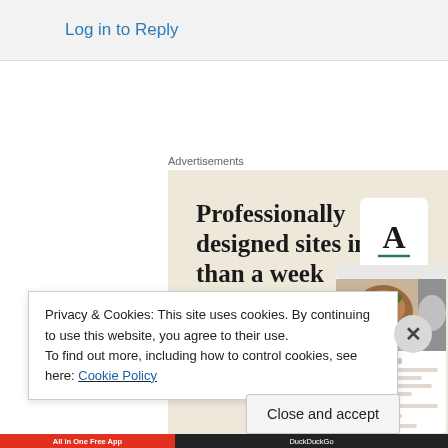Log in to Reply
Advertisements
[Figure (screenshot): Advertisement banner for a web design service. Headline reads 'Professionally designed sites in less than a week' with a green 'Explore options' button and website mockup screenshots on the right side.]
Privacy & Cookies: This site uses cookies. By continuing to use this website, you agree to their use.
To find out more, including how to control cookies, see here: Cookie Policy
Close and accept
[Figure (screenshot): Bottom bar showing 'All in One Free App' on red background and 'DuckDuckGo' on dark background]